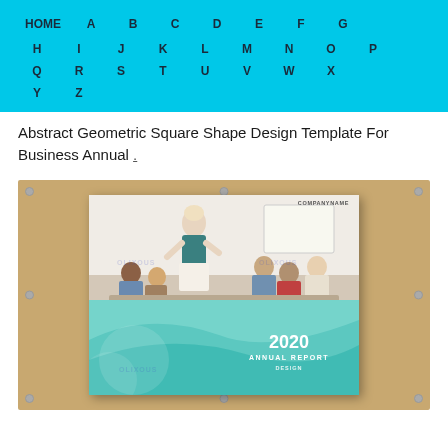HOME A B C D E F G H I J K L M N O P Q R S T U V W X Y Z
Abstract Geometric Square Shape Design Template For Business Annual .
[Figure (illustration): Annual report cover design showing a wood-texture panel background with screw details, containing a business annual report cover with a meeting scene photo, teal wave design, and '2020 ANNUAL REPORT DESIGN' text. Watermark logos visible.]